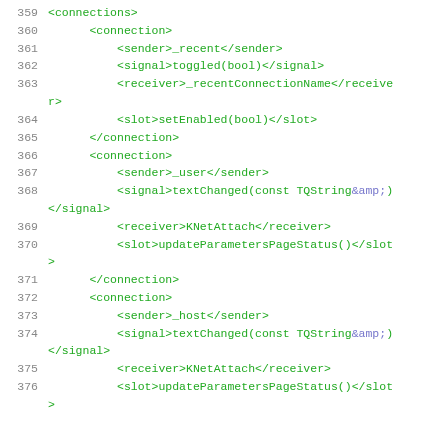Code listing lines 359-376 showing XML connection definitions with sender, signal, receiver, and slot elements
359  <connections>
360      <connection>
361          <sender>_recent</sender>
362          <signal>toggled(bool)</signal>
363          <receiver>_recentConnectionName</receiver>
364          <slot>setEnabled(bool)</slot>
365      </connection>
366      <connection>
367          <sender>_user</sender>
368          <signal>textChanged(const TQString&amp;)</signal>
369          <receiver>KNetAttach</receiver>
370          <slot>updateParametersPageStatus()</slot>
371      </connection>
372      <connection>
373          <sender>_host</sender>
374          <signal>textChanged(const TQString&amp;)</signal>
375          <receiver>KNetAttach</receiver>
376          <slot>updateParametersPageStatus()</slot>